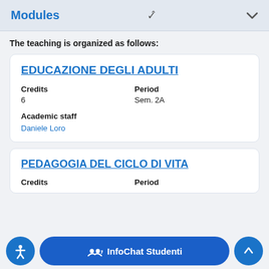Modules
The teaching is organized as follows:
EDUCAZIONE DEGLI ADULTI
| Credits | Period |
| --- | --- |
| 6 | Sem. 2A |
Academic staff
Daniele Loro
PEDAGOGIA DEL CICLO DI VITA
Credits    Period
InfoChat Studenti